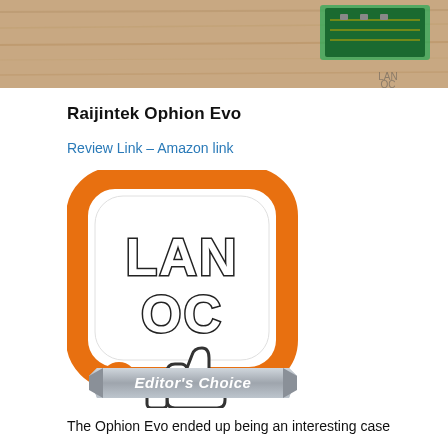[Figure (photo): Photo of a circuit board/hardware component on a wooden surface]
Raijintek Ophion Evo
Review Link – Amazon link
[Figure (logo): LAN OC Editor's Choice award badge with thumbs up icon]
The Ophion Evo ended up being an interesting case